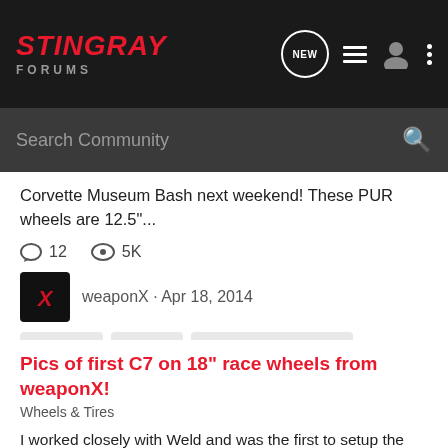STINGRAY FORUMS
Corvette Museum Bash next weekend! These PUR wheels are 12.5"...
12  5K
weaponX · Apr 18, 2014
c7 wheels
pur lx12
weapon x motorsports
weaponx
Pics of first C7 on 18" race wheels from weaponX!
Wheels & Tires
I worked closely with Weld and was the first to setup the CTS V world on their drag wheels. I was eager to bring a solution for the C7 as well. I finally got my wheels mounted up and on my C7. The fronts are 18x6 on M&H skinnies, the rears are 18x11.5" on M&H 325s. I lowered the car on the...